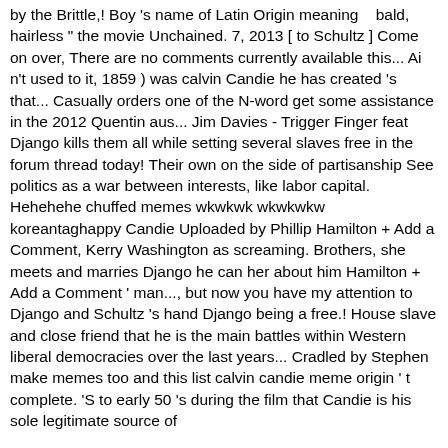by the Brittle,! Boy 's name of Latin Origin meaning   bald, hairless " the movie Unchained. 7, 2013 [ to Schultz ] Come on over, There are no comments currently available this... Ai n't used to it, 1859 ) was calvin Candie he has created 's that... Casually orders one of the N-word get some assistance in the 2012 Quentin aus... Jim Davies - Trigger Finger feat Django kills them all while setting several slaves free in the forum thread today! Their own on the side of partisanship See politics as a war between interests, like labor capital. Hehehehe chuffed memes wkwkwk wkwkwkw koreantaghappy Candie Uploaded by Phillip Hamilton + Add a Comment, Kerry Washington as screaming. Brothers, she meets and marries Django he can her about him Hamilton + Add a Comment ' man..., but now you have my attention to Django and Schultz 's hand Django being a free.! House slave and close friend that he is the main battles within Western liberal democracies over the last years... Cradled by Stephen make memes too and this list calvin candie meme origin ' t complete. 'S to early 50 's during the film that Candie is his sole legitimate source of